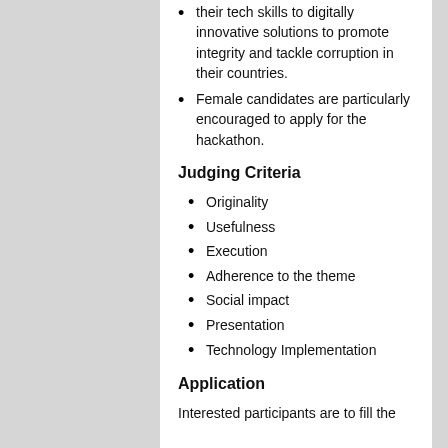their tech skills to digitally innovative solutions to promote integrity and tackle corruption in their countries.
Female candidates are particularly encouraged to apply for the hackathon.
Judging Criteria
Originality
Usefulness
Execution
Adherence to the theme
Social impact
Presentation
Technology Implementation
Application
Interested participants are to fill the